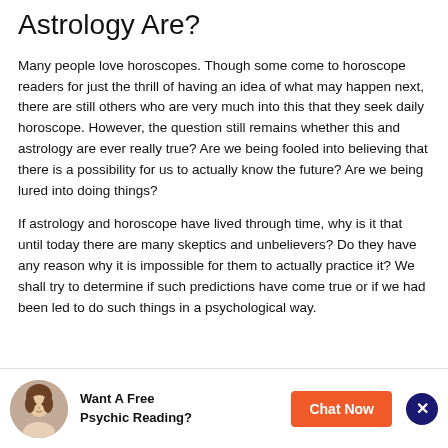Astrology Are?
Many people love horoscopes. Though some come to horoscope readers for just the thrill of having an idea of what may happen next, there are still others who are very much into this that they seek daily horoscope. However, the question still remains whether this and astrology are ever really true? Are we being fooled into believing that there is a possibility for us to actually know the future? Are we being lured into doing things?
If astrology and horoscope have lived through time, why is it that until today there are many skeptics and unbelievers? Do they have any reason why it is impossible for them to actually practice it? We shall try to determine if such predictions have come true or if we had been led to do such things in a psychological way.
[Figure (infographic): Advertisement bar with circular avatar of a woman, bold text 'Want A Free Psychic Reading?', an orange 'Chat Now' button, and a dark blue close button with an X.]